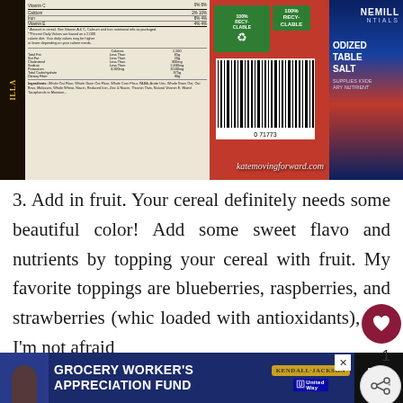[Figure (photo): Photograph of grocery store food product labels including: cereal nutrition facts panel on left, red cereal/oats box in center with barcode and recycling symbol, and Morton iodized table salt blue container on right. Watermark reads 'katemovingforward.com'.]
3. Add in fruit. Your cereal definitely needs some beautiful color! Add some sweet flavo and nutrients by topping your cereal with fruit. My favorite toppings are blueberries, raspberries, and strawberries (whic loaded with antioxidants), but I'm not afraid
[Figure (screenshot): Web UI overlay elements: heart/like button (dark red circle with heart icon), count label '1', share button, and 'What's Next' widget showing thumbnail of berries and text 'Healthy Snacks to...']
[Figure (screenshot): Advertisement banner at the bottom: dark blue background with text 'GROCERY WORKER'S APPRECIATION FUND', Kendall Jackson and United Way logos, and a weather widget on the right.]